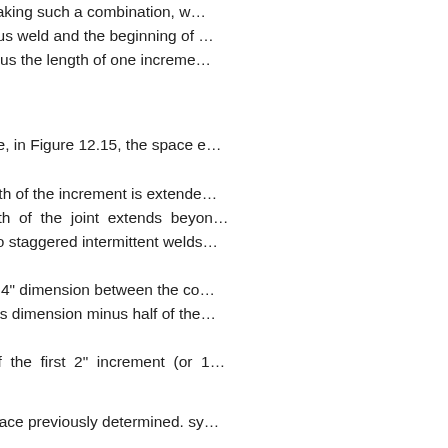When making such a combination, w… continuous weld and the beginning of … pitch minus the length of one increme…
Therefore, in Figure 12.15, the space e…
The length of the increment is extende… the length of the joint extends beyon… applies to staggered intermittent welds…
Note the 4" dimension between the co… weld. This dimension minus half of the…
length of the first 2" increment (or 1… welding
the 3" space previously determined. sy…
otherwise noted)